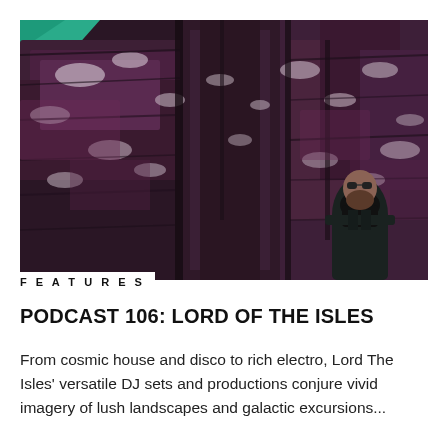[Figure (photo): A man with a beard and sunglasses wearing a dark jacket and black scarf stands against a dramatic dark purple and grey rock face cliff wall. There is a small patch of teal/green sky visible in the top-left corner of the image.]
FEATURES
PODCAST 106: LORD OF THE ISLES
From cosmic house and disco to rich electro, Lord The Isles' versatile DJ sets and productions conjure vivid imagery of lush landscapes and galactic excursions...